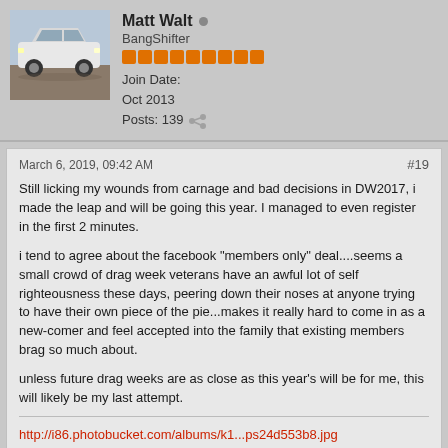[Figure (photo): Avatar photo of a white sports car (appears to be a Pontiac Firebird/Trans Am) parked outdoors]
Matt Walt
BangShifter
Join Date: Oct 2013
Posts: 139
March 6, 2019, 09:42 AM  #19
Still licking my wounds from carnage and bad decisions in DW2017, i made the leap and will be going this year. I managed to even register in the first 2 minutes.

i tend to agree about the facebook "members only" deal....seems a small crowd of drag week veterans have an awful lot of self righteousness these days, peering down their noses at anyone trying to have their own piece of the pie...makes it really hard to come in as a new-comer and feel accepted into the family that existing members brag so much about.

unless future drag weeks are as close as this year's will be for me, this will likely be my last attempt.
http://i86.photobucket.com/albums/k1...ps24d553b8.jpg
Join The Militia